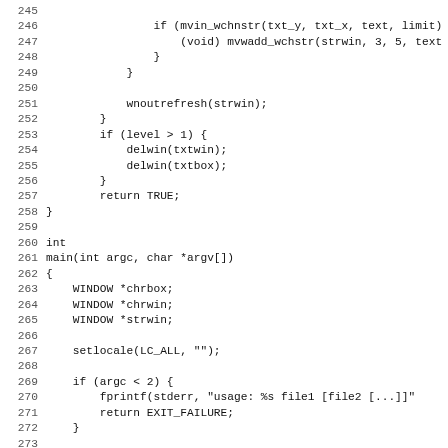Code listing lines 245-277, C source code showing wnoutrefresh, level check, main function with WINDOW declarations, setlocale, argc check, initscr, chrbox derwin calls